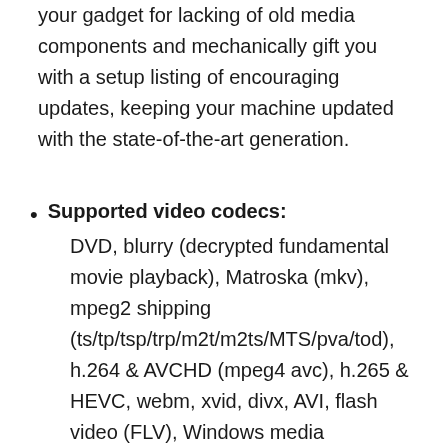your gadget for lacking of old media components and mechanically gift you with a setup listing of encouraging updates, keeping your machine updated with the state-of-the-art generation.
Supported video codecs: DVD, blurry (decrypted fundamental movie playback), Matroska (mkv), mpeg2 shipping (ts/tp/tsp/trp/m2t/m2ts/MTS/pva/tod), h.264 & AVCHD (mpeg4 avc), h.265 & HEVC, webm, xvid, divx, AVI, flash video (FLV), Windows media (WMV/asf), QuickTime (mov/hdmov), ogg movie (ogm), theora (ogv), real media (rm/rmvb), videocd (vcd), terrific videocd (svcd), mpeg (mpg), mpeg2 program (m2v/vob/mod), mpeg4 (sp/asp), mpeg4 iso (mp4), fashionable exchange format (gxf), cloth exchange format (mxf), media center dvr (dvr-ms), camcorder